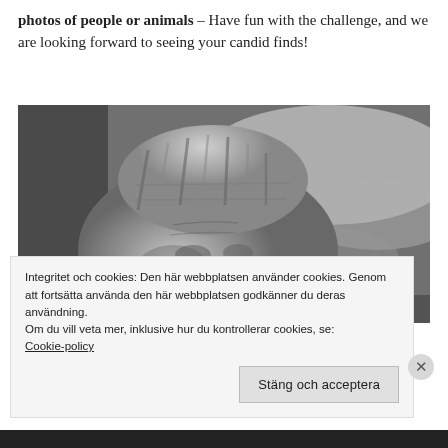photos of people or animals – Have fun with the challenge, and we are looking forward to seeing your candid finds!
[Figure (photo): Black and white photograph of an elderly man wearing a striped knit cap, looking slightly to the side with a weathered face. Background is blurred with light-colored shapes.]
Integritet och cookies: Den här webbplatsen använder cookies. Genom att fortsätta använda den här webbplatsen godkänner du deras användning.
Om du vill veta mer, inklusive hur du kontrollerar cookies, se: Cookie-policy